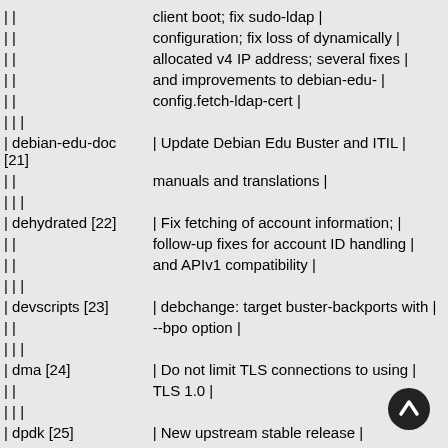|  | client boot; fix sudo-ldap | |
|  | configuration; fix loss of dynamically | |
|  | allocated v4 IP address; several fixes | |
|  | and improvements to debian-edu- | |
|  | config.fetch-ldap-cert | |
|  |  |
| debian-edu-doc [21] | Update Debian Edu Buster and ITIL | |
|  | manuals and translations | |
|  |  |
| dehydrated [22] | Fix fetching of account information; | |
|  | follow-up fixes for account ID handling | |
|  | and APIv1 compatibility | |
|  |  |
| devscripts [23] | debchange: target buster-backports with | |
|  | --bpo option | |
|  |  |
| dma [24] | Do not limit TLS connections to using | |
|  | TLS 1.0 | |
|  |  |
| dpdk [25] | New upstream stable release | |
|  |  |